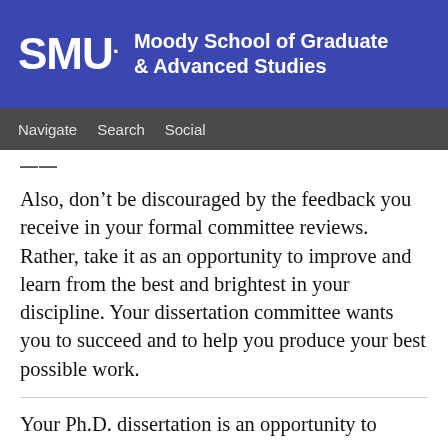SMU. Moody School of Graduate & Advanced Studies
Navigate  Search  Social
Also, don’t be discouraged by the feedback you receive in your formal committee reviews. Rather, take it as an opportunity to improve and learn from the best and brightest in your discipline. Your dissertation committee wants you to succeed and to help you produce your best possible work.
Your Ph.D. dissertation is an opportunity to